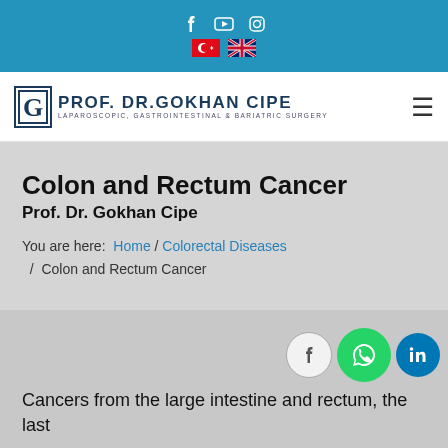[Figure (screenshot): Top blue navigation bar with social media icons (Facebook, YouTube, Instagram) and language flags (Turkish, British)]
[Figure (logo): Prof. Dr. Gokhan Cipe logo with stylized G letter in bordered box, subtitle: Laparoscopic, Gastrointestinal & Bariatric Surgery]
Colon and Rectum Cancer
Prof. Dr. Gokhan Cipe
You are here:  Home / Colorectal Diseases / Colon and Rectum Cancer
Cancers from the large intestine and rectum, the last